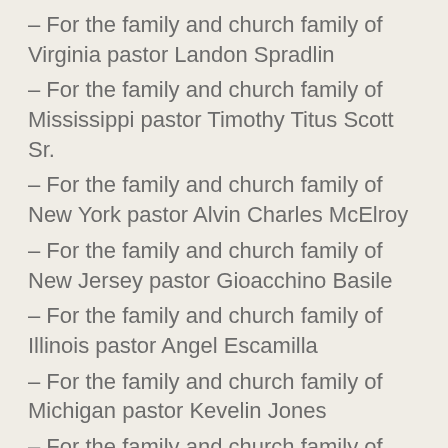– For the family and church family of Virginia pastor Landon Spradlin
– For the family and church family of Mississippi pastor Timothy Titus Scott Sr.
– For the family and church family of New York pastor Alvin Charles McElroy
– For the family and church family of New Jersey pastor Gioacchino Basile
– For the family and church family of Illinois pastor Angel Escamilla
– For the family and church family of Michigan pastor Kevelin Jones
– For the family and church family of Michigan pastor Robert Earl Smith Sr.
– For the families and friends of the 13 members of Mount Neboh Baptist Church in Manhattan who died from the Coronavirus
– For the family and church family of New York